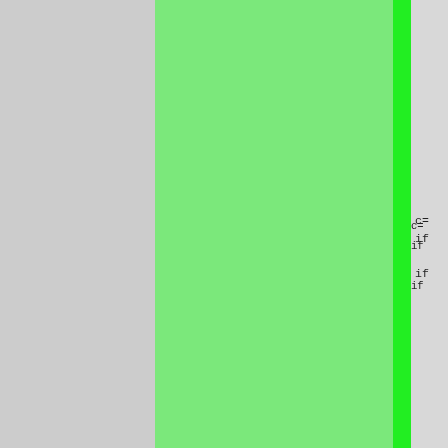[Figure (screenshot): Document page showing a code editor or diff view with three vertical panels: a light gray panel on the left, a wide green highlighted panel in the middle, and a bright green vertical stripe separator, followed by a light gray right panel showing partial code lines including }, c=, if, if, }, }, else i, {, b=c;, }, else, {, a=c+, matc, }, }, return m]
}
c=
if

if




    }
}
else i
{
   b=c;
}
else
{
   a=c+
   matc
}
}
return m